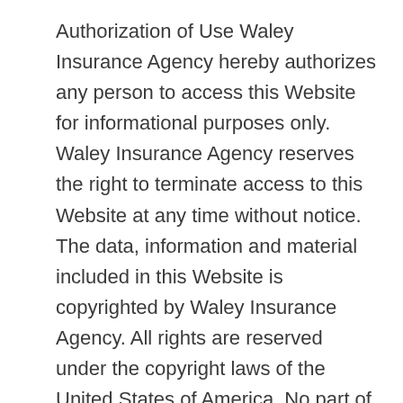Authorization of Use Waley Insurance Agency hereby authorizes any person to access this Website for informational purposes only. Waley Insurance Agency reserves the right to terminate access to this Website at any time without notice. The data, information and material included in this Website is copyrighted by Waley Insurance Agency. All rights are reserved under the copyright laws of the United States of America. No part of this Website can be redistributed, copied or reproduced without the prior written consent of Waley Insurance Agency. No Warranties The user of this Website assumes all responsibility and risk for the use of this Website and the Internet generally. Waley Insurance Agency, and its affiliated companies disclaim all warranties, representations